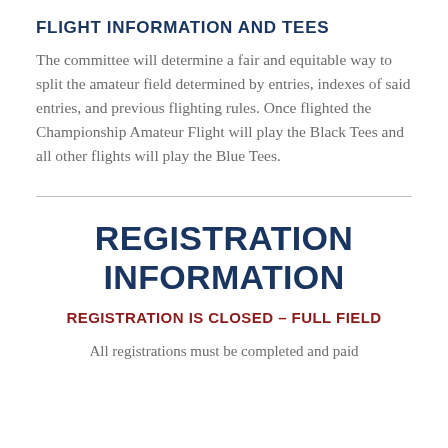FLIGHT INFORMATION AND TEES
The committee will determine a fair and equitable way to split the amateur field determined by entries, indexes of said entries, and previous flighting rules. Once flighted the Championship Amateur Flight will play the Black Tees and all other flights will play the Blue Tees.
REGISTRATION INFORMATION
REGISTRATION IS CLOSED – FULL FIELD
All registrations must be completed and paid